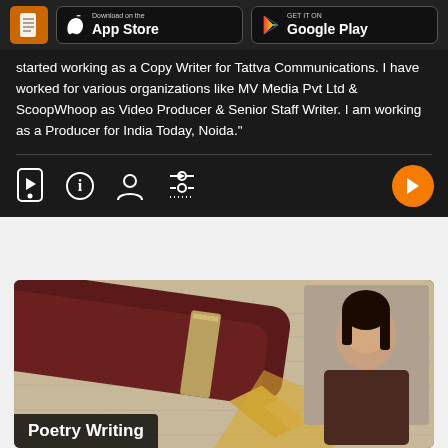[Figure (screenshot): App store download buttons header bar with document icon, Apple App Store and Google Play Store buttons on dark background]
started working as a Copy Writer for Tattva Communications. I have worked for various organizations like MV Media Pvt Ltd & ScoopWhoop as Video Producer & Senior Staff Writer. I am working as a Producer for India Today, Noida."
[Figure (screenshot): Bottom navigation icon bar with phone, info, person, settings icons and orange play button on dark background]
[Figure (photo): Close-up of a fountain pen on handwritten paper with a woman instructor visible in upper right corner, Poetry Writing course card]